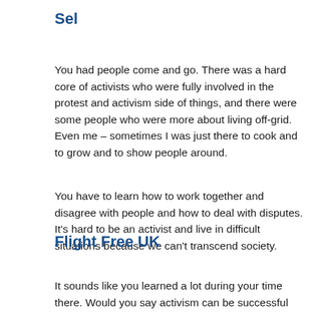Sel
You had people come and go. There was a hard core of activists who were fully involved in the protest and activism side of things, and there were some people who were more about living off-grid. Even me – sometimes I was just there to cook and to grow and to show people around.
You have to learn how to work together and disagree with people and how to deal with disputes. It's hard to be an activist and live in difficult situations because we can't transcend society.
Flight Free UK
It sounds like you learned a lot during your time there. Would you say activism can be successful and that it was the best form of action against Heathrow at that